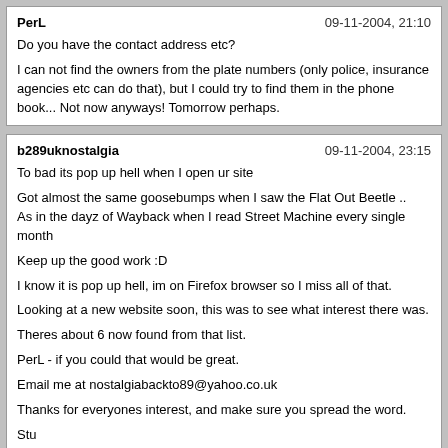PerL | 09-11-2004, 21:10 | Do you have the contact address etc?

I can not find the owners from the plate numbers (only police, insurance agencies etc can do that), but I could try to find them in the phone book... Not now anyways! Tomorrow perhaps.
b289uknostalgia | 09-11-2004, 23:15 | To bad its pop up hell when I open ur site

Got almost the same goosebumps when I saw the Flat Out Beetle ..
As in the dayz of Wayback when I read Street Machine every single month

Keep up the good work :D

I know it is pop up hell, im on Firefox browser so I miss all of that.

Looking at a new website soon, this was to see what interest there was.

Theres about 6 now found from that list.

PerL - if you could that would be great.

Email me at nostalgiabackto89@yahoo.co.uk

Thanks for everyones interest, and make sure you spread the word.

Stu
Tjaap | 10-11-2004, 02:14 | only 1 dutch guy on the list. leon with a red fastback... we have a leon with a red fastback. but i don't think that's your guy. (have no clue about his last name